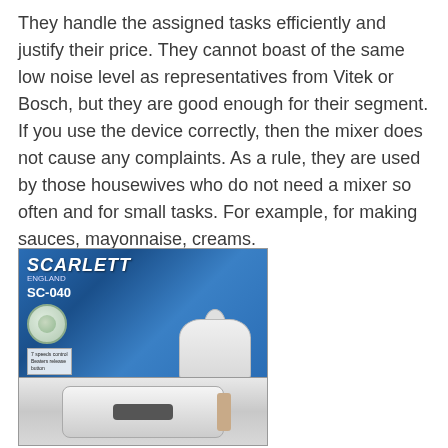They handle the assigned tasks efficiently and justify their price. They cannot boast of the same low noise level as representatives from Vitek or Bosch, but they are good enough for their segment. If you use the device correctly, then the mixer does not cause any complaints. As a rule, they are used by those housewives who do not need a mixer so often and for small tasks. For example, for making sauces, mayonnaise, creams.
[Figure (photo): Photo of a Scarlett SC-040 mixer with bowl product box, showing blue packaging with white mixer and bowl. Text on box reads: SCARLETT ENGLAND, SC-040, MIXER WITH BOWL, 7 speeds control, Beaters release button.]
[Figure (photo): Partial photo of a white handheld blender/mixer lying on a surface, showing the body with a dark label strip and a tan/gold colored end piece.]